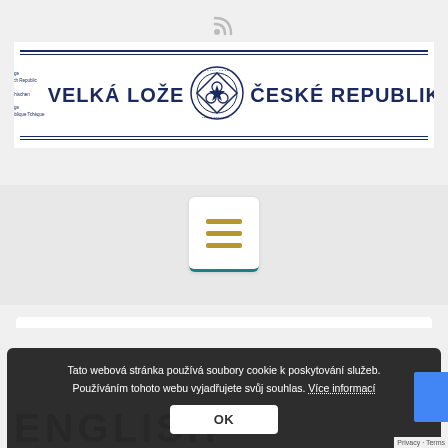[Figure (logo): RSS feed icon at top center]
[Figure (logo): Velika Lože České Republiky grand lodge banner logo with decorative border, emblem in center, and multilingual text on left side]
[Figure (other): Hamburger menu button (three golden lines) on white rounded square with teal bottom border]
[Figure (screenshot): Search bar with placeholder text 'Type your search' and gold search icon]
Tato webová stránka používá soubory cookie k poskytování služeb. Používáním tohoto webu vyjadřujete svůj souhlas. Více informací
[Figure (other): OK button on cookie consent overlay]
ENGLISH